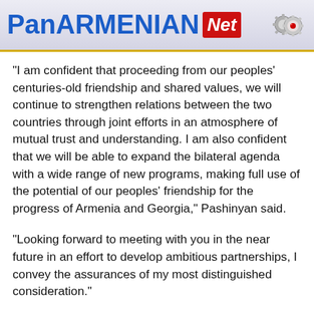PanARMENIAN.Net
"I am confident that proceeding from our peoples' centuries-old friendship and shared values, we will continue to strengthen relations between the two countries through joint efforts in an atmosphere of mutual trust and understanding. I am also confident that we will be able to expand the bilateral agenda with a wide range of new programs, making full use of the potential of our peoples' friendship for the progress of Armenia and Georgia," Pashinyan said.
"Looking forward to meeting with you in the near future in an effort to develop ambitious partnerships, I convey the assurances of my most distinguished consideration."
With nearly all votes counted, the French-born ex-diplomat had 59% of the vote with rival Grigol Vashadze on 40%.